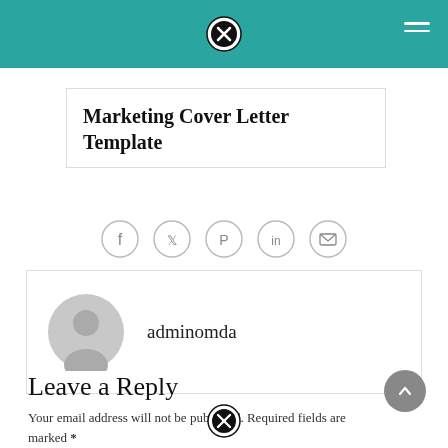Marketing Cover Letter Template
[Figure (infographic): Row of five social sharing icons: Facebook, Twitter, Pinterest, LinkedIn, Email — each in a circle outline]
[Figure (infographic): Author profile card with grey avatar silhouette icon and username 'adminomda']
Leave a Reply
Your email address will not be published. Required fields are marked *